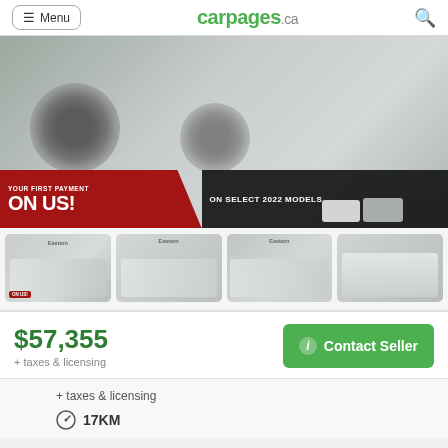Menu | carpages.ca
[Figure (photo): White Jeep Grand Cherokee front/wheel close-up photo with promotional overlay: 'YOUR FIRST PAYMENT ON US! ON SELECT 2022 MODELS' with small car silhouettes on right]
[Figure (photo): Four thumbnail photos of white Jeep Grand Cherokee from various angles in dealership lot]
$57,355
+ taxes & licensing
Contact Seller
+ taxes & licensing
17KM